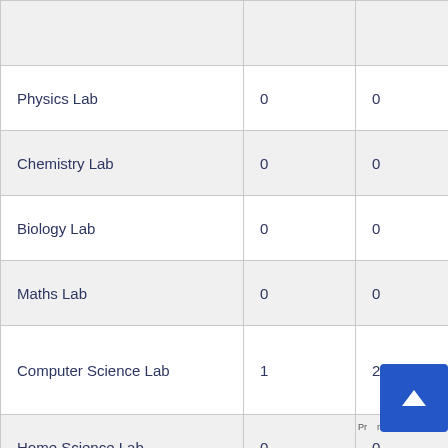| Physics Lab | 0 | 0 | 0 |
| Chemistry Lab | 0 | 0 | 0 |
| Biology Lab | 0 | 0 | 0 |
| Maths Lab | 0 | 0 | 0 |
| Computer Science Lab | 1 | 27 | 24 |
| Home Science Lab | 0 | 0 | 0 |
| Library | 1 | 27 | 24 |